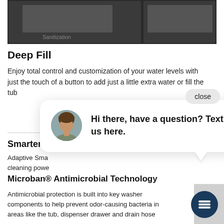[Figure (screenshot): Dark UI screenshot showing a washer control panel with 'Sanitization' label visible, split into two panels on dark background]
Deep Fill
Enjoy total control and customization of your water levels with just the touch of a button to add just a little extra water or fill the tub
[Figure (screenshot): Chat widget overlay with close button, avatar of a woman, and message 'Hi there, have a question? Text us here.']
Smarter Wa[sh]
Adaptive Sma[rt] ... cleaning powe[r]
Microban® Antimicrobial Technology
Antimicrobial protection is built into key washer components to help prevent odor-causing bacteria in areas like the tub, dispenser drawer and drain hose